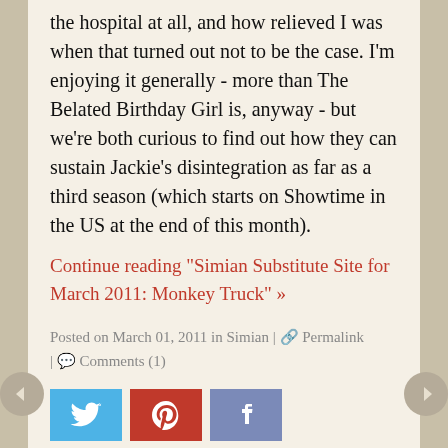the hospital at all, and how relieved I was when that turned out not to be the case. I'm enjoying it generally - more than The Belated Birthday Girl is, anyway - but we're both curious to find out how they can sustain Jackie's disintegration as far as a third season (which starts on Showtime in the US at the end of this month).
Continue reading "Simian Substitute Site for March 2011: Monkey Truck" »
Posted on March 01, 2011 in Simian | 🔗 Permalink | 💬 Comments (1)
[Figure (other): Three social media sharing buttons: Twitter (blue), Pinterest (red), Facebook (slate blue)]